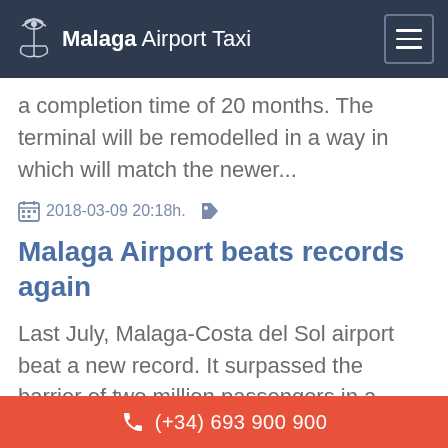Malaga Airport Taxi
a completion time of 20 months. The terminal will be remodelled in a way in which will match the newer...
2018-03-09 20:18h.
Malaga Airport beats records again
Last July, Malaga-Costa del Sol airport beat a new record. It surpassed the barrier of two million passengers in a single monthf or the first time. At the
(+34) 693 900 900